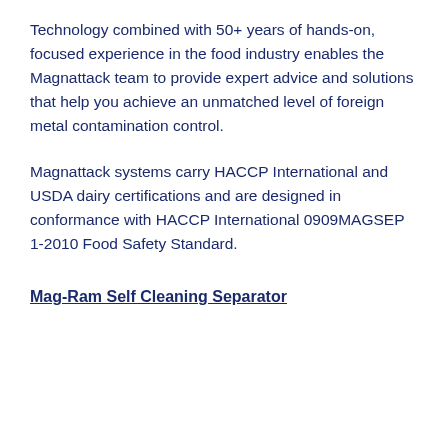Technology combined with 50+ years of hands-on, focused experience in the food industry enables the Magnattack team to provide expert advice and solutions that help you achieve an unmatched level of foreign metal contamination control.
Magnattack systems carry HACCP International and USDA dairy certifications and are designed in conformance with HACCP International 0909MAGSEP 1-2010 Food Safety Standard.
Mag-Ram Self Cleaning Separator